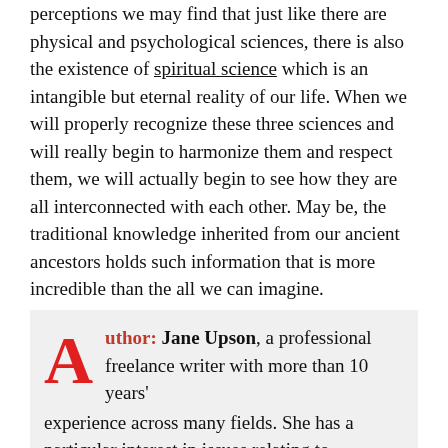perceptions we may find that just like there are physical and psychological sciences, there is also the existence of spiritual science which is an intangible but eternal reality of our life. When we will properly recognize these three sciences and will really begin to harmonize them and respect them, we will actually begin to see how they are all interconnected with each other. May be, the traditional knowledge inherited from our ancient ancestors holds such information that is more incredible than the all we can imagine.
Author: Jane Upson, a professional freelance writer with more than 10 years' experience across many fields. She has a particular interest in issues relating to